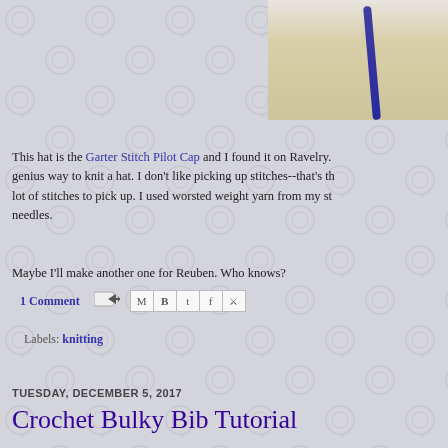[Figure (photo): Partial photo showing sandy floor/ground with a blue/purple braided cord or rope, cropped at top-right of page]
This hat is the Garter Stitch Pilot Cap and I found it on Ravelry. genius way to knit a hat. I don't like picking up stitches--that's th lot of stitches to pick up. I used worsted weight yarn from my st needles.
Maybe I'll make another one for Reuben. Who knows?
1 Comment  [share icons]  Labels: knitting
TUESDAY, DECEMBER 5, 2017
Crochet Bulky Bib Tutorial